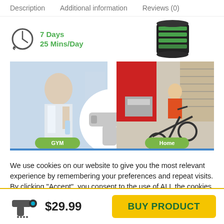Description   Additional information   Reviews (0)
[Figure (infographic): Clock icon with green text showing days and mins/day, and a battery/storage icon on the right]
[Figure (photo): Two panel fitness image: left panel shows a smiling man at the gym with a towel and water bottle with GYM label; right panel shows a person riding a stationary bike at home with Home label; center shows a massage gun device]
We use cookies on our website to give you the most relevant experience by remembering your preferences and repeat visits. By clicking “Accept”, you consent to the use of ALL the cookies.
Do not sell my personal information.
[Figure (logo): Massage gun product icon]
$29.99
BUY PRODUCT